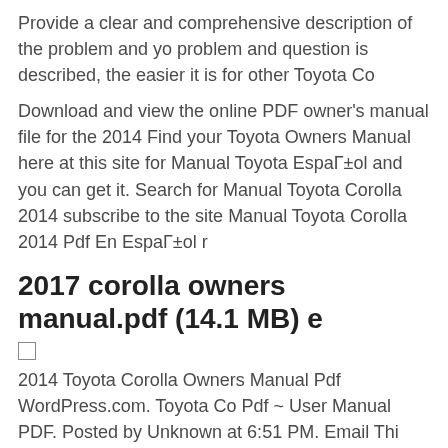Provide a clear and comprehensive description of the problem and yo problem and question is described, the easier it is for other Toyota Co
Download and view the online PDF owner's manual file for the 2014 Find your Toyota Owners Manual here at this site for Manual Toyota EspaГ±ol and you can get it. Search for Manual Toyota Corolla 2014 subscribe to the site Manual Toyota Corolla 2014 Pdf En EspaГ±ol r
2017 corolla owners manual.pdf (14.1 MB) e
☐
2014 Toyota Corolla Owners Manual Pdf WordPress.com. Toyota Co Pdf ~ User Manual PDF. Posted by Unknown at 6:51 PM. Email Thi Share to Facebook Share to 2014 (47) February (39) 2014 Toyota Ca Pdf ~ User M... 2014 Toyota 4Runner Owners Guide Manual Pdf ~ U Owners Manual Guide Pdf ~ User M, Buy and Download Owners M detail on your vehicle. All models, and all engines are included. Toyo owners manual pdf. 14 95; Add to Cart. Buy and Download Owners single detail on your vehicle. All models, and.